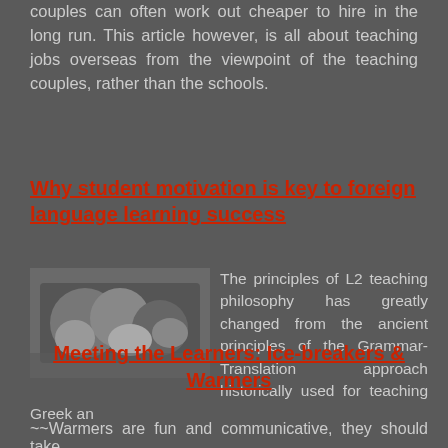couples can often work out cheaper to hire in the long run. This article however, is all about teaching jobs overseas from the viewpoint of the teaching couples, rather than the schools.
Why student motivation is key to foreign language learning success
The principles of L2 teaching philosophy has greatly changed from the ancient principles of the Grammar-Translation approach historically used for teaching Greek an
Meeting the Learners: Ice-breakers & Warmers
~~Warmers are fun and communicative, they should take